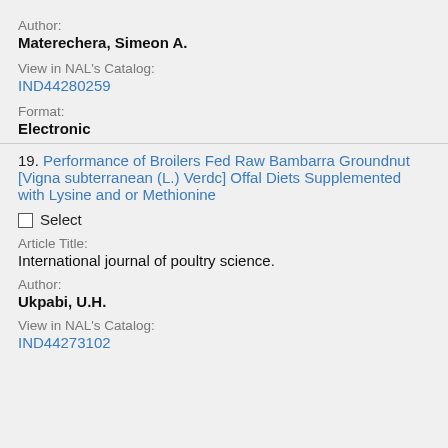Author:
Materechera, Simeon A.
View in NAL's Catalog:
IND44280259
Format:
Electronic
19. Performance of Broilers Fed Raw Bambarra Groundnut [Vigna subterranean (L.) Verdc] Offal Diets Supplemented with Lysine and or Methionine
Select
Article Title:
International journal of poultry science.
Author:
Ukpabi, U.H.
View in NAL's Catalog:
IND44273102